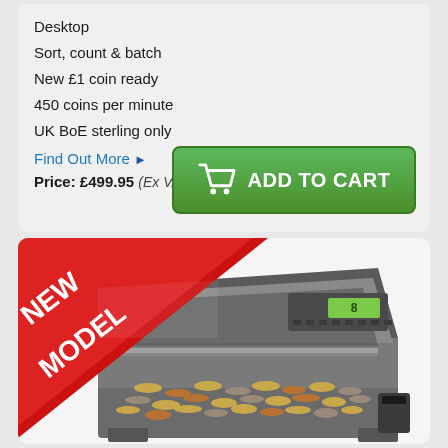Desktop
Sort, count & batch
New £1 coin ready
450 coins per minute
UK BoE sterling only
Find Out More ▶
Price: £499.95 (Ex VAT at 20%)
[Figure (photo): Coin sorting and counting machine with 'NEW MODEL' badge in red triangle at top left. Machine is silver/grey, desktop unit with LCD display and control buttons, with a hopper full of mixed coins.]